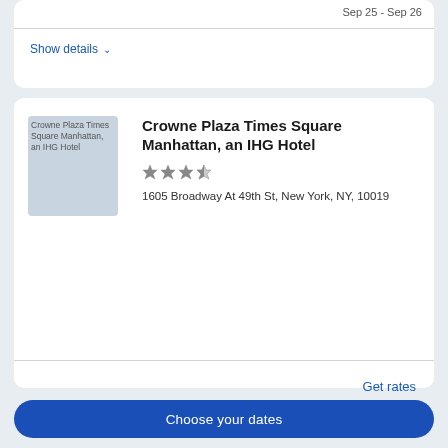Sep 25 - Sep 26
Show details
[Figure (photo): Crowne Plaza Times Square Manhattan, an IHG Hotel logo/thumbnail image]
Crowne Plaza Times Square Manhattan, an IHG Hotel
3.5 stars rating
1605 Broadway At 49th St, New York, NY, 10019
Get rates
Show details
Choose your dates